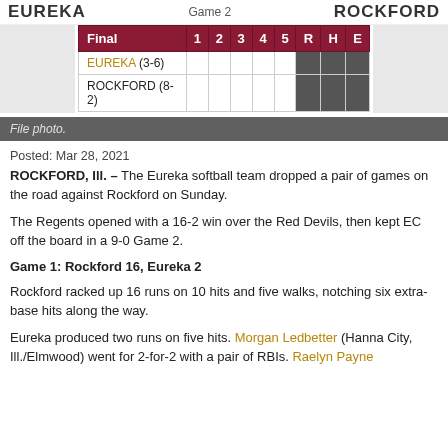EUREKA   Game 2   ROCKFORD
| Final | 1 | 2 | 3 | 4 | 5 | R | H | E |
| --- | --- | --- | --- | --- | --- | --- | --- | --- |
| EUREKA (3-6) |  |  |  |  |  |  |  |  |
| ROCKFORD (8-2) |  |  |  |  |  |  |  |  |
File photo.
Posted: Mar 28, 2021
ROCKFORD, Ill. – The Eureka softball team dropped a pair of games on the road against Rockford on Sunday.
The Regents opened with a 16-2 win over the Red Devils, then kept EC off the board in a 9-0 Game 2.
Game 1: Rockford 16, Eureka 2
Rockford racked up 16 runs on 10 hits and five walks, notching six extra-base hits along the way.
Eureka produced two runs on five hits. Morgan Ledbetter (Hanna City, Ill./Elmwood) went for 2-for-2 with a pair of RBIs. Raelyn Payne